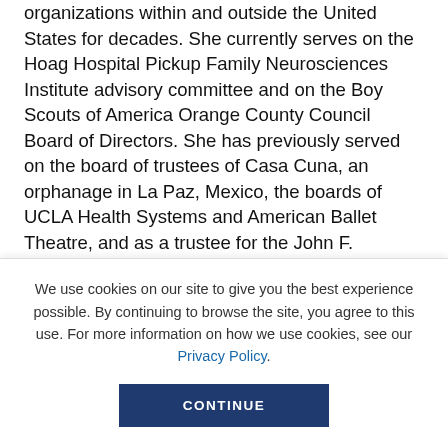organizations within and outside the United States for decades. She currently serves on the Hoag Hospital Pickup Family Neurosciences Institute advisory committee and on the Boy Scouts of America Orange County Council Board of Directors. She has previously served on the board of trustees of Casa Cuna, an orphanage in La Paz, Mexico, the boards of UCLA Health Systems and American Ballet Theatre, and as a trustee for the John F. Kennedy Center for the Performing Arts. Kathi grew up in
We use cookies on our site to give you the best experience possible. By continuing to browse the site, you agree to this use. For more information on how we use cookies, see our Privacy Policy.